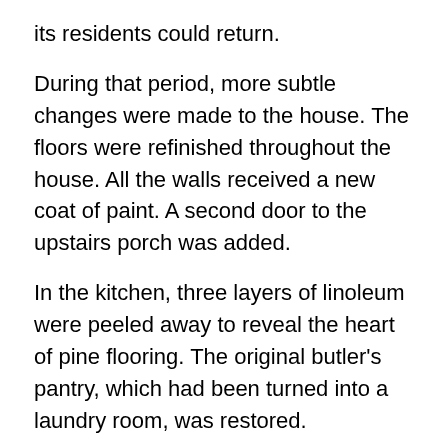its residents could return.
During that period, more subtle changes were made to the house. The floors were refinished throughout the house. All the walls received a new coat of paint. A second door to the upstairs porch was added.
In the kitchen, three layers of linoleum were peeled away to reveal the heart of pine flooring. The original butler's pantry, which had been turned into a laundry room, was restored.
Invited and uninvited guests
What the fire didn't destroy were the periodic, inexplicable appearances of ghostly apparitions. Some say a mysterious white dog has been spotted scooting in and